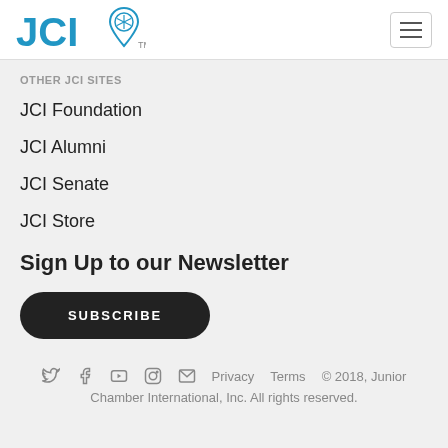[Figure (logo): JCI logo with blue text 'JCI' and a shield/pin icon with snowflake, followed by TM mark, and a hamburger menu button on the right]
OTHER JCI SITES
JCI Foundation
JCI Alumni
JCI Senate
JCI Store
Sign Up to our Newsletter
SUBSCRIBE
Privacy   Terms   © 2018, Junior Chamber International, Inc. All rights reserved.